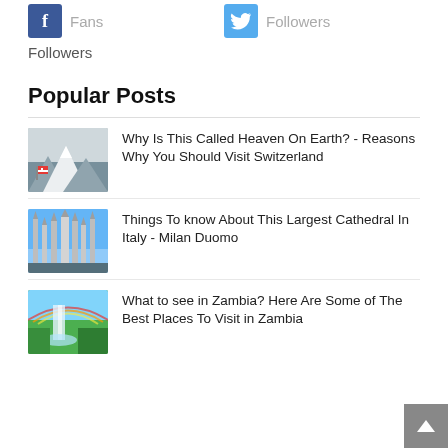[Figure (infographic): Social media bar showing Facebook Fans icon (blue) and Twitter Followers icon (light blue) with label text in grey]
Followers
Popular Posts
Why Is This Called Heaven On Earth? - Reasons Why You Should Visit Switzerland
Things To know About This Largest Cathedral In Italy - Milan Duomo
What to see in Zambia? Here Are Some of The Best Places To Visit in Zambia